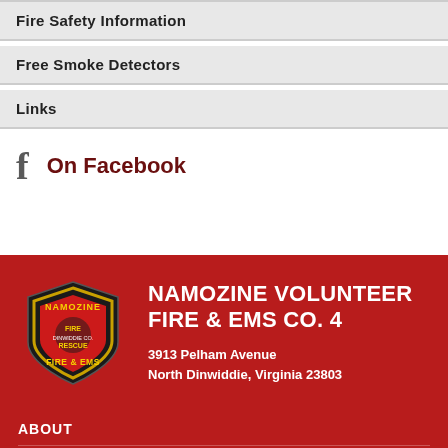Fire Safety Information
Free Smoke Detectors
Links
On Facebook
[Figure (logo): Namozine Fire & EMS badge/patch logo — black shield with NAMOZINE text at top, FIRE & EMS at bottom, red and gold emblem in center]
NAMOZINE VOLUNTEER FIRE & EMS CO. 4
3913 Pelham Avenue
North Dinwiddie, Virginia 23803
ABOUT
DONATE